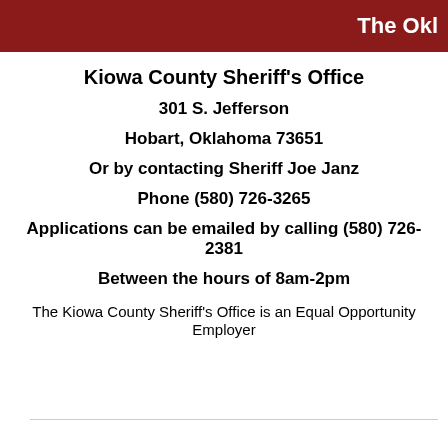The Okl
Kiowa County Sheriff's Office
301 S. Jefferson
Hobart, Oklahoma 73651
Or by contacting Sheriff Joe Janz
Phone (580) 726-3265
Applications can be emailed by calling (580) 726-2381
Between the hours of 8am-2pm
The Kiowa County Sheriff's Office is an Equal Opportunity Employer